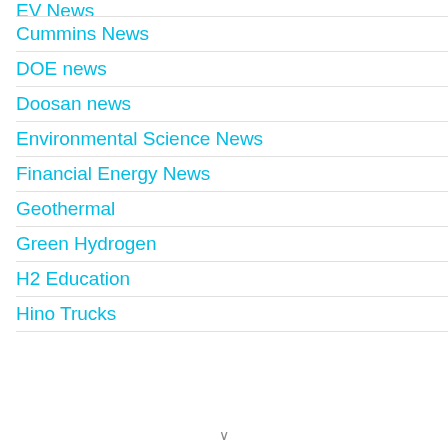EV News
Cummins News
DOE news
Doosan news
Environmental Science News
Financial Energy News
Geothermal
Green Hydrogen
H2 Education
Hino Trucks